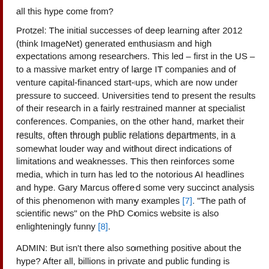all this hype come from?
Protzel: The initial successes of deep learning after 2012 (think ImageNet) generated enthusiasm and high expectations among researchers. This led – first in the US – to a massive market entry of large IT companies and of venture capital-financed start-ups, which are now under pressure to succeed. Universities tend to present the results of their research in a fairly restrained manner at specialist conferences. Companies, on the other hand, market their results, often through public relations departments, in a somewhat louder way and without direct indications of limitations and weaknesses. This then reinforces some media, which in turn has led to the notorious AI headlines and hype. Gary Marcus offered some very succinct analysis of this phenomenon with many examples [7]. "The path of scientific news" on the PhD Comics website is also enlighteningly funny [8].
ADMIN: But isn't there also something positive about the hype? After all, billions in private and public funding is suddenly flowing into AI research and applications such as Industry 4.0.
Protzel: That's right; Germany also jumped on the bandwagon (with quite some delay). This doesn't have to be negative – many trains travel in the wrong direction. But in 2019, the AI motto was The Year